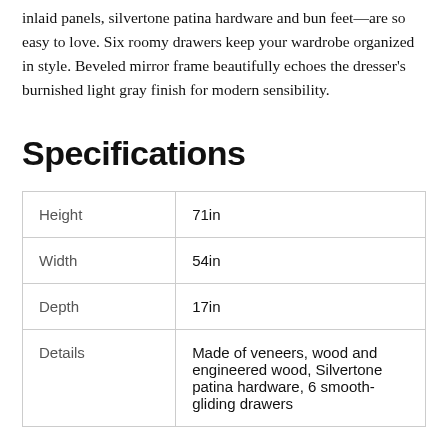inlaid panels, silvertone patina hardware and bun feet—are so easy to love. Six roomy drawers keep your wardrobe organized in style. Beveled mirror frame beautifully echoes the dresser's burnished light gray finish for modern sensibility.
Specifications
| Height | 71in |
| Width | 54in |
| Depth | 17in |
| Details | Made of veneers, wood and engineered wood, Silvertone patina hardware, 6 smooth-gliding drawers |